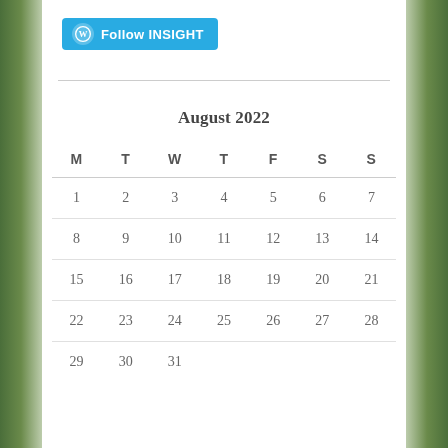[Figure (other): WordPress Follow INSIGHT button in teal/blue with WordPress logo icon]
| M | T | W | T | F | S | S |
| --- | --- | --- | --- | --- | --- | --- |
| 1 | 2 | 3 | 4 | 5 | 6 | 7 |
| 8 | 9 | 10 | 11 | 12 | 13 | 14 |
| 15 | 16 | 17 | 18 | 19 | 20 | 21 |
| 22 | 23 | 24 | 25 | 26 | 27 | 28 |
| 29 | 30 | 31 |  |  |  |  |